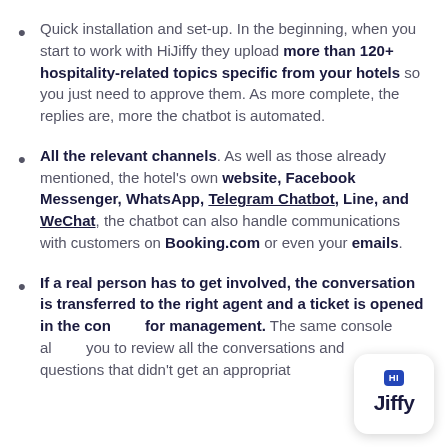Quick installation and set-up. In the beginning, when you start to work with HiJiffy they upload more than 120+ hospitality-related topics specific from your hotels so you just need to approve them. As more complete, the replies are, more the chatbot is automated.
All the relevant channels. As well as those already mentioned, the hotel's own website, Facebook Messenger, WhatsApp, Telegram Chatbot, Line, and WeChat, the chatbot can also handle communications with customers on Booking.com or even your emails.
If a real person has to get involved, the conversation is transferred to the right agent and a ticket is opened in the console for management. The same console allows you to review all the conversations and questions that didn't get an appropriate
[Figure (logo): HiJiffy logo in a white rounded square with shadow]